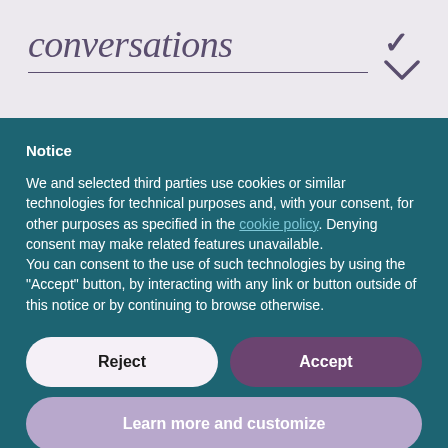conversations
Notice
We and selected third parties use cookies or similar technologies for technical purposes and, with your consent, for other purposes as specified in the cookie policy. Denying consent may make related features unavailable.
You can consent to the use of such technologies by using the "Accept" button, by interacting with any link or button outside of this notice or by continuing to browse otherwise.
Reject
Accept
Learn more and customize